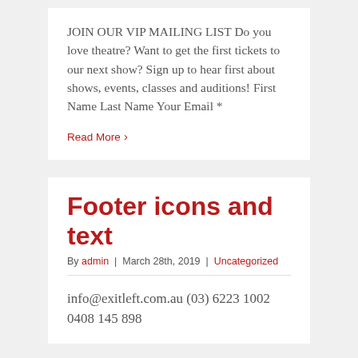JOIN OUR VIP MAILING LIST Do you love theatre? Want to get the first tickets to our next show? Sign up to hear first about shows, events, classes and auditions! First Name Last Name Your Email *
Read More ›
Footer icons and text
By admin | March 28th, 2019 | Uncategorized
info@exitleft.com.au (03) 6223 1002 0408 145 898